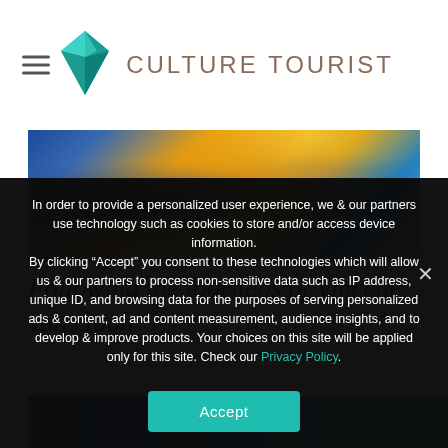Culture Tourist
[Figure (photo): Blurred artistic image with Van Gogh-style painting colours — blue, golden yellow swirls — partially visible, cropped at top]
Following the footsteps of Vincent van Gogh
[Figure (photo): Second image strip partially visible — blue tones, appears to be another article image below]
In order to provide a personalized user experience, we & our partners use technology such as cookies to store and/or access device information.
By clicking “Accept” you consent to these technologies which will allow us & our partners to process non-sensitive data such as IP address, unique ID, and browsing data for the purposes of serving personalized ads & content, ad and content measurement, audience insights, and to develop & improve products. Your choices on this site will be applied only for this site. Check our Privacy Policy.
Accept